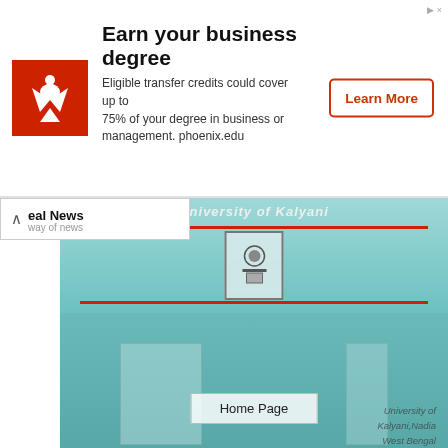[Figure (infographic): Advertisement banner for University of Phoenix showing logo, headline 'Earn your business degree', description text about transfer credits, and Learn More button]
[Figure (photo): Photograph of University of Kalyani administrative building, a multi-story teal/green building with palm trees, overlaid with navigation buttons 'Home Page' and 'PG Merit List & Counseling-2017']
Advertisements
The officials of Kalyani University Admission 2020-21 has released the online admission form for all Kalyani University UG Admission 2020-21 & Kalyani University PG Admission 2020-21. There are too many students those are want to get admission to this most popular university